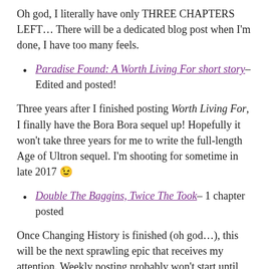Oh god, I literally have only THREE CHAPTERS LEFT… There will be a dedicated blog post when I'm done, I have too many feels.
Paradise Found: A Worth Living For short story– Edited and posted!
Three years after I finished posting Worth Living For, I finally have the Bora Bora sequel up! Hopefully it won't take three years for me to write the full-length Age of Ultron sequel. I'm shooting for sometime in late 2017 😉
Double The Baggins, Twice The Took– 1 chapter posted
Once Changing History is finished (oh god…), this will be the next sprawling epic that receives my attention. Weekly posting probably won't start until after the first of the year, and until then, I'll be dedicating most of my new words to